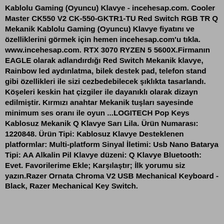Kablolu Gaming (Oyuncu) Klavye - incehesap.com. Cooler Master CK550 V2 CK-550-GKTR1-TU Red Switch RGB TR Q Mekanik Kablolu Gaming (Oyuncu) Klavye fiyatını ve özelliklerini görmek için hemen incehesap.com'u tıkla. www.incehesap.com. RTX 3070 RYZEN 5 5600X.Firmanın EAGLE olarak adlandırdığı Red Switch Mekanik klavye, Rainbow led aydınlatma, bilek destek pad, telefon stand gibi özellikleri ile sizi cezbedebilecek şıklıkta tasarlandı. Köşeleri keskin hat çizgiler ile dayanıklı olarak dizayn edilmiştir. Kırmızı anahtar Mekanik tuşları sayesinde minimum ses oranı ile oyun ...LOGITECH Pop Keys Kablosuz Mekanik Q Klavye Sarı Lila. Ürün Numarası: 1220848. Ürün Tipi: Kablosuz Klavye Desteklenen platformlar: Multi-platform Sinyal İletimi: Usb Nano Batarya Tipi: AA Alkalin Pil Klavye düzeni: Q Klavye Bluetooth: Evet. Favorilerime Ekle; Karşılaştır; İlk yorumu siz yazın.Razer Ornata Chroma V2 USB Mechanical Keyboard - Black, Razer Mechanical Key Switch. Thi...